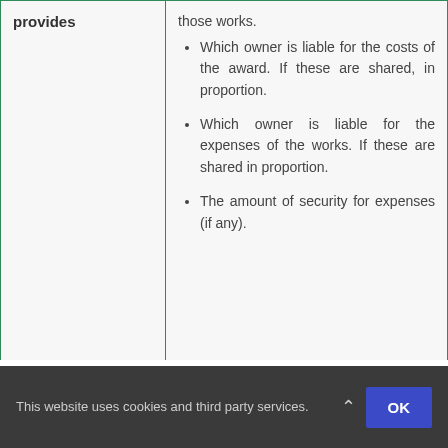|  |  |
| --- | --- |
| provides | those works.
• Which owner is liable for the costs of the award. If these are shared, in proportion.
• Which owner is liable for the expenses of the works. If these are shared in proportion.
• The amount of security for expenses (if any). |
| Costs of award | The party wall surveyor will decide who is liable for the expenses and seek pay... |
This website uses cookies and third party services.